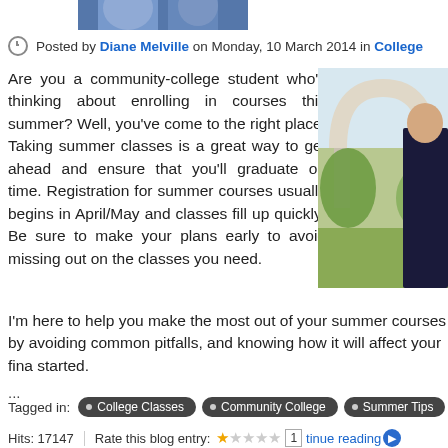[Figure (photo): Partial view of people in blue clothing at top of page]
Posted by Diane Melville on Monday, 10 March 2014 in College
[Figure (photo): Woman in dark dress standing outdoors near archway with greenery]
Are you a community-college student who's thinking about enrolling in courses this summer? Well, you've come to the right place! Taking summer classes is a great way to get ahead and ensure that you'll graduate on time. Registration for summer courses usually begins in April/May and classes fill up quickly! Be sure to make your plans early to avoid missing out on the classes you need.
I'm here to help you make the most out of your summer courses by avoiding common pitfalls, and knowing how it will affect your fina started.
...
Tagged in: College Classes · Community College · Summer Tips
Hits: 17147   Rate this blog entry:  [1 star] [continue reading]